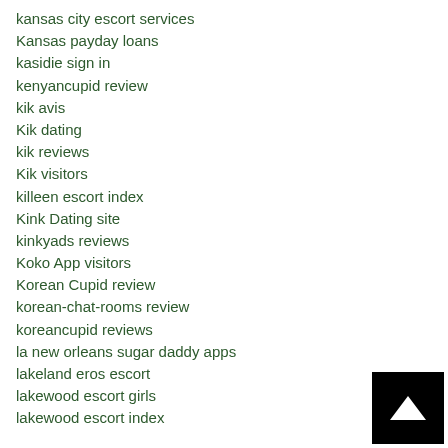kansas city escort services
Kansas payday loans
kasidie sign in
kenyancupid review
kik avis
Kik dating
kik reviews
Kik visitors
killeen escort index
Kink Dating site
kinkyads reviews
Koko App visitors
Korean Cupid review
korean-chat-rooms review
koreancupid reviews
la new orleans sugar daddy apps
lakeland eros escort
lakewood escort girls
lakewood escort index